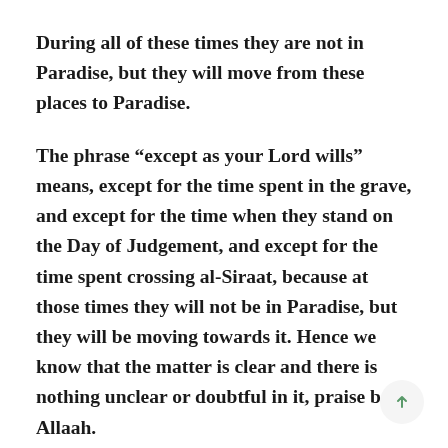During all of these times they are not in Paradise, but they will move from these places to Paradise.
The phrase “except as your Lord wills” means, except for the time spent in the grave, and except for the time when they stand on the Day of Judgement, and except for the time spent crossing al-Siraat, because at those times they will not be in Paradise, but they will be moving towards it. Hence we know that the matter is clear and there is nothing unclear or doubtful in it, praise be to Allaah.
The people of Paradise will be blessed therein and will abide therein forever. There will be no death, no sickness, no expulsion, no hardship, no grief, no